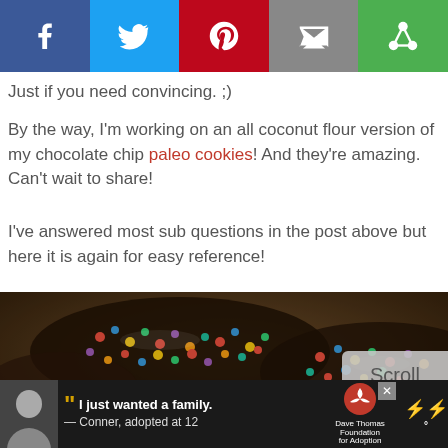[Figure (screenshot): Social share bar with Facebook (blue), Twitter (light blue), Pinterest (red), Email (gray), and another share icon (green) buttons]
Just if you need convincing. ;)
By the way, I'm working on an all coconut flour version of my chocolate chip paleo cookies! And they're amazing. Can't wait to share!
I've answered most sub questions in the post above but here it is again for easy reference!
[Figure (photo): Close-up blurred photo of chocolate cookies topped with colorful candy pieces]
[Figure (screenshot): Advertisement bar at bottom: Dave Thomas Foundation for Adoption ad with young man photo and quote 'I just wanted a family. — Conner, adopted at 12']